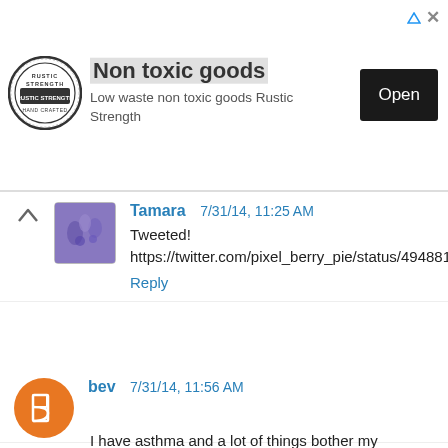[Figure (other): Advertisement banner for Rustic Strength non toxic goods with logo, text, and Open button]
Tamara 7/31/14, 11:25 AM
Tweeted!
https://twitter.com/pixel_berry_pie/status/494881465403211777
Reply
bev 7/31/14, 11:56 AM
I have asthma and a lot of things bother my breathing. I would love to try the FRAM Fresh Breeze Cabin Air Filters in my car. It's surprising how dirty our air is. Thanks for having this contest.
Reply
Leidy Ruiz 7/31/14, 12:22 PM